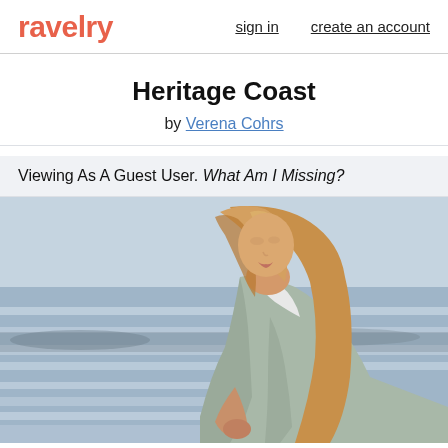ravelry   sign in   create an account
Heritage Coast
by Verena Cohrs
Viewing As A Guest User. What Am I Missing?
[Figure (photo): Woman with long blonde hair wearing a light grey knit cardigan over a white collared shirt, standing outdoors near a rocky beach with ocean waves in the background.]